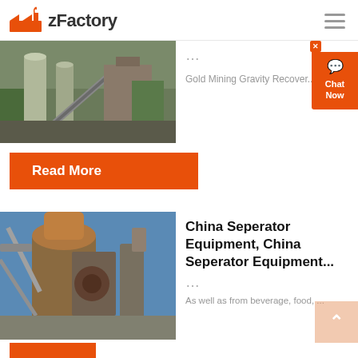zFactory
[Figure (photo): Industrial facility with silos and conveyor belts, top card image]
...
Gold Mining Gravity Recover...
Read More
[Figure (photo): Industrial separator equipment, large rusty metal machinery against blue sky]
China Seperator Equipment, China Seperator Equipment...
...
As well as from beverage, food, ...